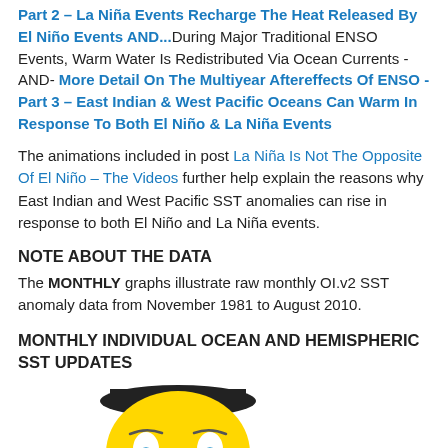Part 2 – La Niña Events Recharge The Heat Released By El Niño Events AND...During Major Traditional ENSO Events, Warm Water Is Redistributed Via Ocean Currents -AND- More Detail On The Multiyear Aftereffects Of ENSO - Part 3 – East Indian & West Pacific Oceans Can Warm In Response To Both El Niño & La Niña Events
The animations included in post La Niña Is Not The Opposite Of El Niño – The Videos further help explain the reasons why East Indian and West Pacific SST anomalies can rise in response to both El Niño and La Niña events.
NOTE ABOUT THE DATA
The MONTHLY graphs illustrate raw monthly OI.v2 SST anomaly data from November 1981 to August 2010.
MONTHLY INDIVIDUAL OCEAN AND HEMISPHERIC SST UPDATES
[Figure (illustration): Emoji-style face character with yellow round head, wide eyes with blue teardrop-like pupils, and a slight frown, wearing a dark hat]